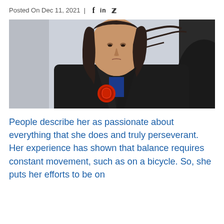Posted On Dec 11, 2021 | f in 🐦
[Figure (photo): Woman in black martial arts gi with red emblem patch, looking upward with wind-blown hair, dramatic sky background]
People describe her as passionate about everything that she does and truly perseverant. Her experience has shown that balance requires constant movement, such as on a bicycle. So, she puts her efforts to be on